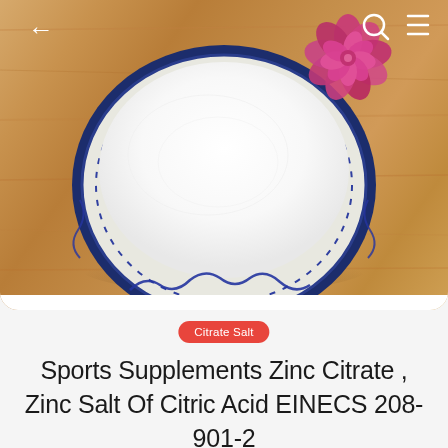[Figure (photo): A blue and white decorative plate filled with white powder (zinc citrate), with a pink carnation flower placed at the top right. The plate sits on a wooden surface. Navigation icons (back arrow, search, menu) are visible in the top corners overlaid on the photo.]
Citrate Salt
Sports Supplements Zinc Citrate , Zinc Salt Of Citric Acid EINECS 208-901-2